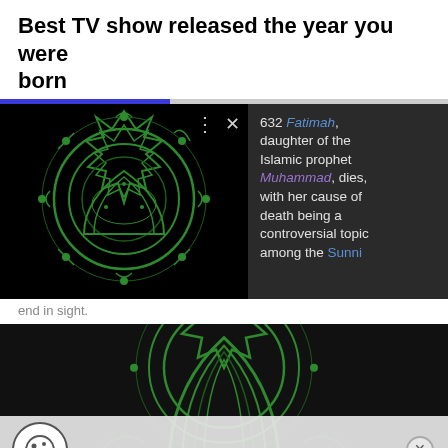Best TV show released the year you were born
[Figure (screenshot): Screenshot of a web page showing an Islamic calligraphy image with a dark tooltip overlay. The tooltip reads: '632 Fatimah, daughter of the Islamic prophet Muhammad, dies, with her cause of death being a controversial topic among the Sunni...' with a progress bar and navigation icons.]
end in sight.
[Figure (photo): Dark background image showing green Islamic geometric/calligraphic art, partially cropped, with a cookie consent overlay at the bottom.]